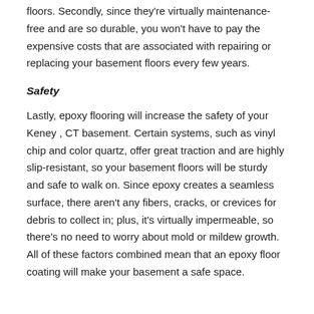floors. Secondly, since they're virtually maintenance-free and are so durable, you won't have to pay the expensive costs that are associated with repairing or replacing your basement floors every few years.
Safety
Lastly, epoxy flooring will increase the safety of your Keney , CT basement. Certain systems, such as vinyl chip and color quartz, offer great traction and are highly slip-resistant, so your basement floors will be sturdy and safe to walk on. Since epoxy creates a seamless surface, there aren't any fibers, cracks, or crevices for debris to collect in; plus, it's virtually impermeable, so there's no need to worry about mold or mildew growth. All of these factors combined mean that an epoxy floor coating will make your basement a safe space.